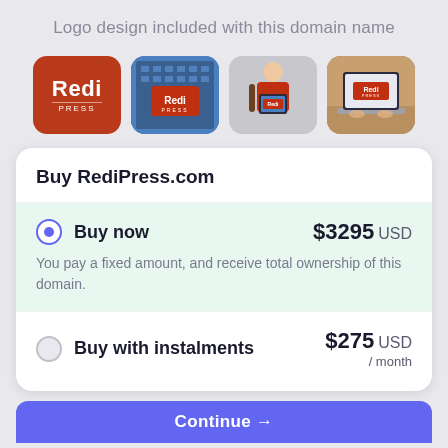Logo design included with this domain name
[Figure (illustration): Four logo mockup tiles showing RediPress.com branding: (1) red tile with Redi PRESS logo text, (2) building billboard with Redi logo, (3) person in red shirt holding tablet, (4) laptop with Redi logo]
Buy RediPress.com
Buy now — $3295 USD
You pay a fixed amount, and receive total ownership of this domain.
Buy with instalments — $275 USD / month
Continue →